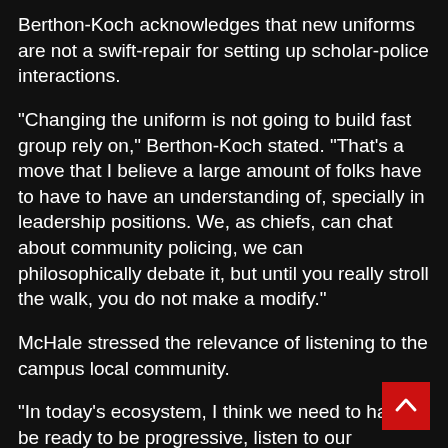Berthon-Koch acknowledges that new uniforms are not a swift-repair for setting up scholar-police interactions.
“Changing the uniform is not going to build fast group rely on,” Berthon-Koch stated. “That’s a move that I believe a large amount of folks have to have to have an understanding of, specially in leadership positions. We, as chiefs, can chat about community policing, we can philosophically debate it, but until you really stroll the walk, you do not make a modify.”
McHale stressed the relevance of listening to the campus local community.
“In today’s ecosystem, I think we need to have to be ready to be progressive, listen to our constituents and abide by their wishes if it is doable,” McHale explained. “And I imagine it is a gain-win in this circumstance.”